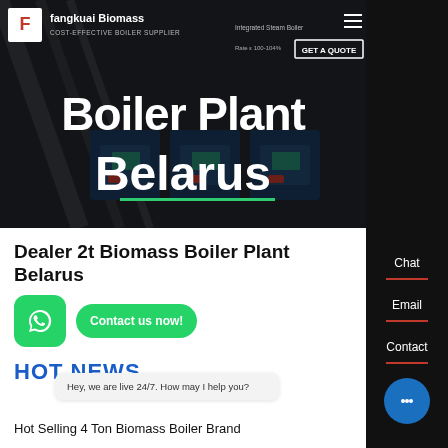[Figure (screenshot): Website hero banner for Fangkuai Biomass boiler supplier showing industrial boilers in a dark overlay background with navigation header]
Boiler Plant Belarus
COST-EFFECTIVE BOILER SUPPLIER
GET A QUOTE
Chat
Email
Contact
Dealer 2t Biomass Boiler Plant Belarus
HOT NEWS
Contact us now!
Hey, we are live 24/7. How may I help you?
Hot Selling 4 Ton Biomass Boiler Brand